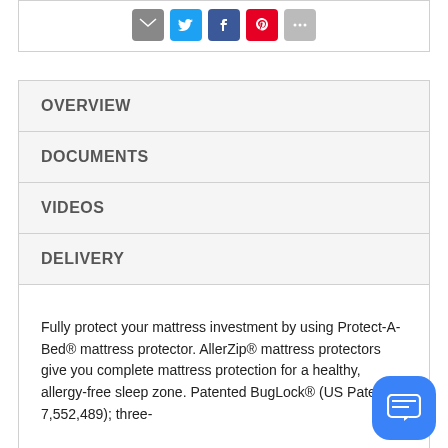[Figure (other): Social share icons: email (grey), Twitter (blue), Facebook (dark blue), Pinterest (red), More (grey)]
OVERVIEW
DOCUMENTS
VIDEOS
DELIVERY
Fully protect your mattress investment by using Protect-A-Bed® mattress protector. AllerZip® mattress protectors give you complete mattress protection for a healthy, allergy-free sleep zone. Patented BugLock® (US Patent 7,552,489); three-